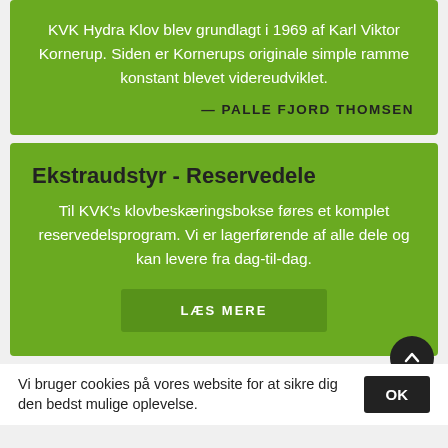KVK Hydra Klov blev grundlagt i 1969 af Karl Viktor Kornerup. Siden er Kornerups originale simple ramme konstant blevet videreudviklet.
— PALLE FJORD THOMSEN
Ekstraudstyr - Reservedele
Til KVK's klovbeskæringsbokse føres et komplet reservedelsprogram. Vi er lagerførende af alle dele og kan levere fra dag-til-dag.
LÆS MERE
Vi bruger cookies på vores website for at sikre dig den bedst mulige oplevelse.
OK